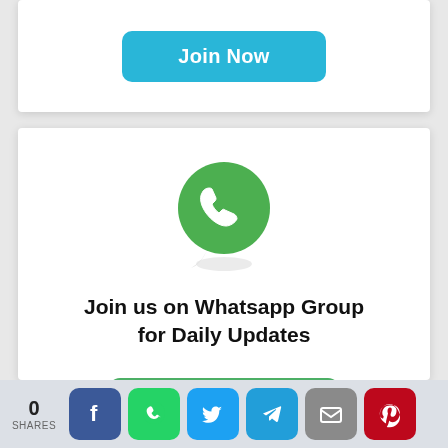[Figure (screenshot): Blue 'Join Now' button on white card (partially visible at top)]
[Figure (logo): WhatsApp logo - green circle with white phone handset icon]
Join us on Whatsapp Group for Daily Updates
[Figure (screenshot): Green 'Join Now' button]
0 SHARES | Facebook | WhatsApp | Twitter | Telegram | Email | Pinterest